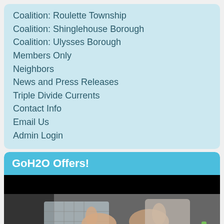Coalition: Roulette Township
Coalition: Shinglehouse Borough
Coalition: Ulysses Borough
Members Only
Neighbors
News and Press Releases
Triple Divide Currents
Contact Info
Email Us
Admin Login
GoH2O Offers!
[Figure (photo): Video thumbnail showing hands working with a plastic container and kitchen items, with howcast.com watermark]